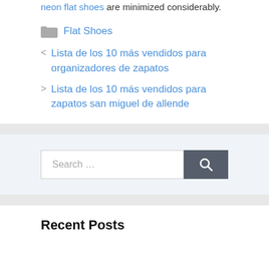neon flat shoes are minimized considerably.
Flat Shoes
< Lista de los 10 más vendidos para organizadores de zapatos
> Lista de los 10 más vendidos para zapatos san miguel de allende
[Figure (other): Search bar with text 'Search ...' and a dark gray search button with magnifying glass icon]
Recent Posts